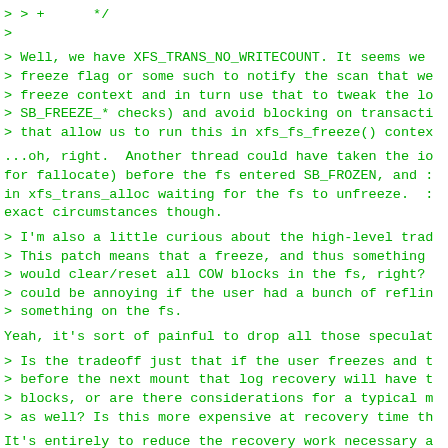> > +      */
>
> Well, we have XFS_TRANS_NO_WRITECOUNT. It seems we
> freeze flag or some such to notify the scan that we
> freeze context and in turn use that to tweak the lo
> SB_FREEZE_* checks) and avoid blocking on transacti
> that allow us to run this in xfs_fs_freeze() contex
...oh, right.  Another thread could have taken the io
for fallocate) before the fs entered SB_FROZEN, and :
in xfs_trans_alloc waiting for the fs to unfreeze.  :
exact circumstances though.
> I'm also a little curious about the high-level trad
> This patch means that a freeze, and thus something
> would clear/reset all COW blocks in the fs, right?
> could be annoying if the user had a bunch of reflin
> something on the fs.
Yeah, it's sort of painful to drop all those speculat
> Is the tradeoff just that if the user freezes and t
> before the next mount that log recovery will have t
> blocks, or are there considerations for a typical m
> as well? Is this more expensive at recovery time th
It's entirely to reduce the recovery work necessary a
fs, snapshotting the fs (via lvm or whatever) and the
snapshot separately.  TBH this patch has languished t
because it's only necessary to optimize this one usag
Maybe it's easier to drop this one, unless anyone fee